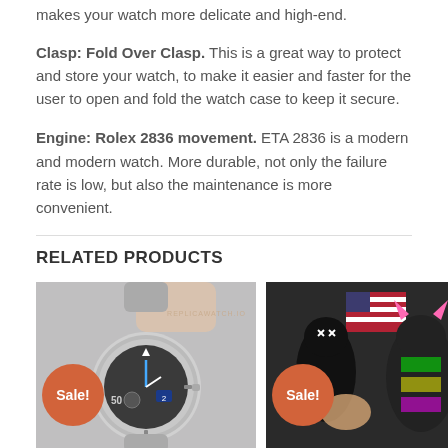makes your watch more delicate and high-end.
Clasp: Fold Over Clasp. This is a great way to protect and store your watch, to make it easier and faster for the user to open and fold the watch case to keep it secure.
Engine: Rolex 2836 movement. ETA 2836 is a modern and modern watch. More durable, not only the failure rate is low, but also the maintenance is more convenient.
RELATED PRODUCTS
[Figure (photo): A silver Rolex watch held in hand with a Sale! badge overlay and replicawatch.io watermark]
[Figure (photo): A colorful collectible figurine display with a Sale! badge overlay]